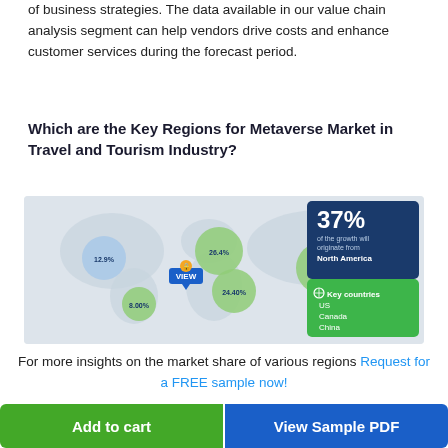of business strategies. The data available in our value chain analysis segment can help vendors drive costs and enhance customer services during the forecast period.
Which are the Key Regions for Metaverse Market in Travel and Tourism Industry?
[Figure (map): World map showing regional market share percentages with bubble overlays for different regions. A legend box shows 37% of the growth will originate from North America. Key countries listed: US, Canada, China.]
For more insights on the market share of various regions Request for a FREE sample now!
Add to cart
View Sample PDF